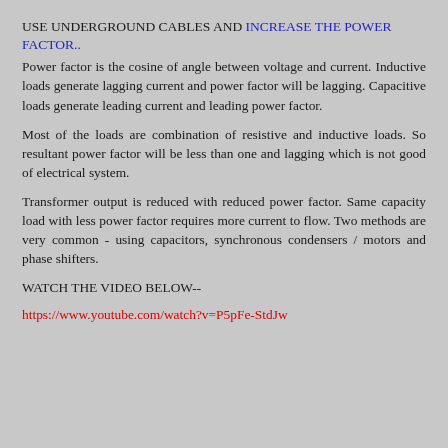USE UNDERGROUND CABLES AND INCREASE THE POWER FACTOR..
Power factor is the cosine of angle between voltage and current. Inductive loads generate lagging current and power factor will be lagging. Capacitive loads generate leading current and leading power factor.
Most of the loads are combination of resistive and inductive loads. So resultant power factor will be less than one and lagging which is not good of electrical system.
Transformer output is reduced with reduced power factor. Same capacity load with less power factor requires more current to flow. Two methods are very common - using capacitors, synchronous condensers / motors and phase shifters.
WATCH THE VIDEO BELOW--
https://www.youtube.com/watch?v=P5pFe-StdJw